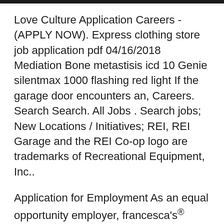Love Culture Application Careers - (APPLY NOW). Express clothing store job application pdf 04/16/2018 Mediation Bone metastisis icd 10 Genie silentmax 1000 flashing red light If the garage door encounters an, Careers. Search Search. All Jobs . Search jobs; New Locations / Initiatives; REI, REI Garage and the REI Co-op logo are trademarks of Recreational Equipment, Inc..
Application for Employment As an equal opportunity employer, francesca's® does not discriminate in hiring or in any conditions of employment based on race, color Application for Employment As an equal opportunity employer, francesca's® does not discriminate in hiring or in any conditions of employment based on race, color